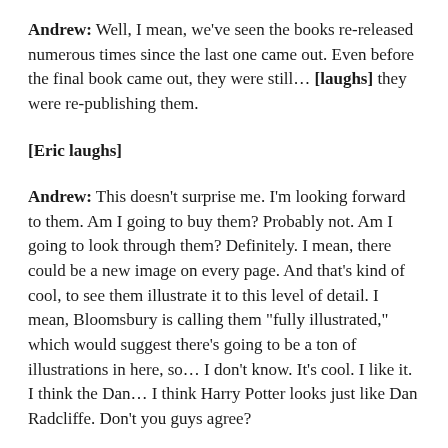Andrew: Well, I mean, we've seen the books re-released numerous times since the last one came out. Even before the final book came out, they were still... [laughs] they were re-publishing them.
[Eric laughs]
Andrew: This doesn't surprise me. I'm looking forward to them. Am I going to buy them? Probably not. Am I going to look through them? Definitely. I mean, there could be a new image on every page. And that's kind of cool, to see them illustrate it to this level of detail. I mean, Bloomsbury is calling them "fully illustrated," which would suggest there's going to be a ton of illustrations in here, so... I don't know. It's cool. I like it. I think the Dan... I think Harry Potter looks just like Dan Radcliffe. Don't you guys agree?